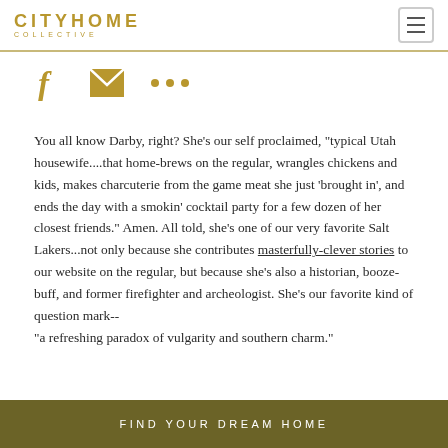CITYHOME COLLECTIVE
[Figure (infographic): Social share icons: Facebook f, envelope/mail icon, three dots (more options) — all in gold/brown color]
You all know Darby, right? She's our self proclaimed, "typical Utah housewife....that home-brews on the regular, wrangles chickens and kids, makes charcuterie from the game meat she just 'brought in', and ends the day with a smokin' cocktail party for a few dozen of her closest friends." Amen. All told, she's one of our very favorite Salt Lakers...not only because she contributes masterfully-clever stories to our website on the regular, but because she's also a historian, booze-buff, and former firefighter and archeologist. She's our favorite kind of question mark-- "a refreshing paradox of vulgarity and southern charm."
FIND YOUR DREAM HOME